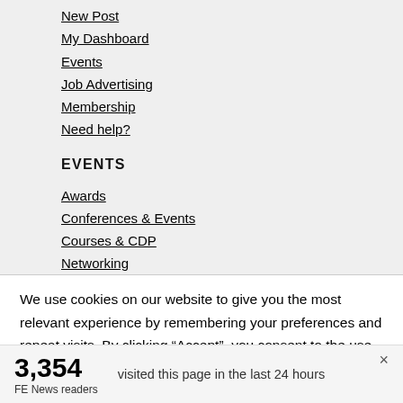New Post
My Dashboard
Events
Job Advertising
Membership
Need help?
EVENTS
Awards
Conferences & Events
Courses & CDP
Networking
We use cookies on our website to give you the most relevant experience by remembering your preferences and repeat visits. By clicking “Accept”, you consent to the use of ALL the cookies. However you may visit Cookie
3,354
FE News readers
visited this page in the last 24 hours